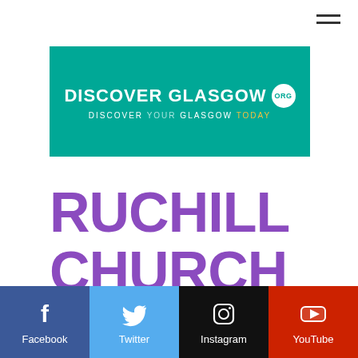[Figure (logo): Hamburger menu icon (three horizontal lines) in top right corner]
[Figure (logo): Discover Glasgow .org banner with teal background, white bold text DISCOVER GLASGOW with ORG in a white circle, subtitle DISCOVER YOUR GLASGOW TODAY]
RUCHILL CHURCH HALL
[Figure (other): Partial image visible at bottom of page content area]
[Figure (infographic): Social media bar with four buttons: Facebook (blue), Twitter (light blue), Instagram (black), YouTube (red)]